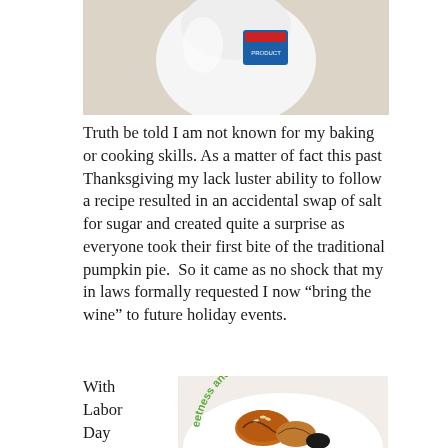[Figure (photo): Top portion of a photo showing a white mixer or baking appliance with a blue and red product box/label partially visible, on a white background.]
Truth be told I am not known for my baking or cooking skills. As a matter of fact this past Thanksgiving my lack luster ability to follow a recipe resulted in an accidental swap of salt for sugar and created quite a surprise as everyone took their first bite of the traditional pumpkin pie.  So it came as no shock that my in laws formally requested I now “bring the wine” to future holiday events.
With
Labor
Day
[Figure (photo): Photo of baked goods (possibly donuts or pastries) on a white plate with green text around the rim reading 'sweetness and love, that’s wh...']